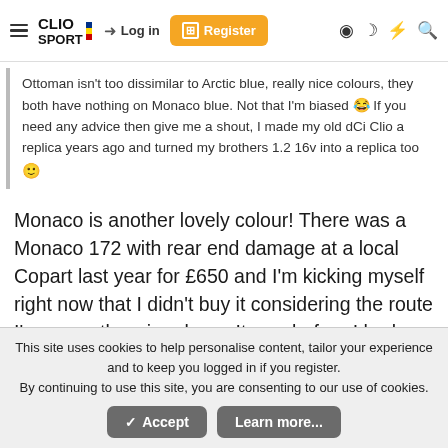ClioSport - Login - Register
Ottoman isn't too dissimilar to Arctic blue, really nice colours, they both have nothing on Monaco blue. Not that I'm biased 😂 If you need any advice then give me a shout, I made my old dCi Clio a replica years ago and turned my brothers 1.2 16v into a replica too 🙂
Monaco is another lovely colour! There was a Monaco 172 with rear end damage at a local Copart last year for £650 and I'm kicking myself right now that I didn't buy it considering the route I'm currently going down. It was before I had moved house and didn't have the space for it at the time.
I ...really...that the....... Will be...it...bring the
This site uses cookies to help personalise content, tailor your experience and to keep you logged in if you register.
By continuing to use this site, you are consenting to our use of cookies.